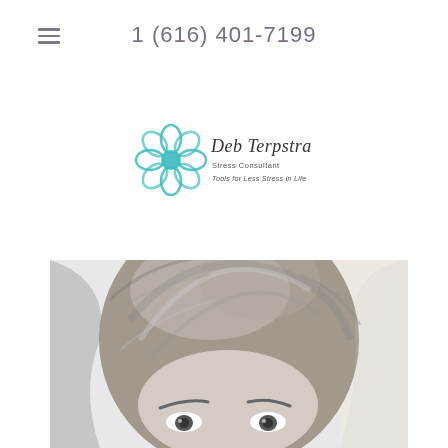1 (616) 401-7199
[Figure (logo): Deb Terpstra stress consultant logo with teal flower/petal design and handwritten-style name text. Tagline reads 'Tools for Less Stress in Life']
[Figure (photo): Black and white close-up portrait photo of a woman with short gray/brown hair, looking upward. Only the top half of her face (forehead, eyes, and hair) is visible, cropped at the bottom of the frame.]